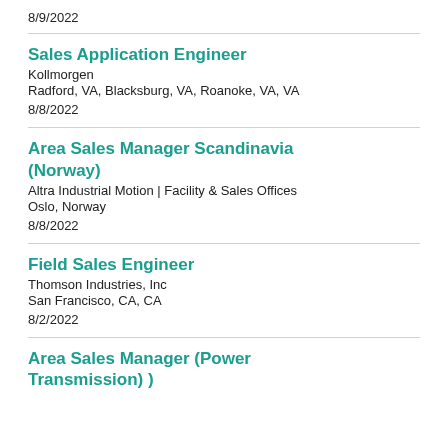8/9/2022
Sales Application Engineer
Kollmorgen
Radford, VA, Blacksburg, VA, Roanoke, VA, VA
8/8/2022
Area Sales Manager Scandinavia (Norway)
Altra Industrial Motion | Facility & Sales Offices
Oslo, Norway
8/8/2022
Field Sales Engineer
Thomson Industries, Inc
San Francisco, CA, CA
8/2/2022
Area Sales Manager (Power Transmission) )